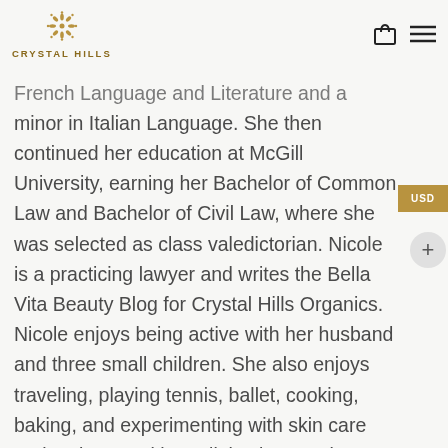CRYSTAL HILLS
French Language and Literature and a minor in Italian Language. She then continued her education at McGill University, earning her Bachelor of Common Law and Bachelor of Civil Law, where she was selected as class valedictorian. Nicole is a practicing lawyer and writes the Bella Vita Beauty Blog for Crystal Hills Organics. Nicole enjoys being active with her husband and three small children. She also enjoys traveling, playing tennis, ballet, cooking, baking, and experimenting with skin care and makeup. With too little sleep and a very exciting and hectic life as a mother